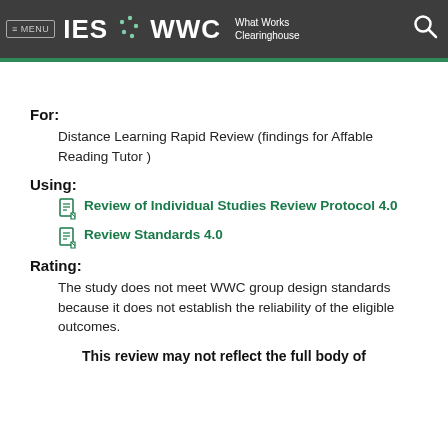≡ MENU  IES ··· WWC  What Works Clearinghouse
For:
Distance Learning Rapid Review (findings for Affable Reading Tutor )
Using:
Review of Individual Studies Review Protocol 4.0
Review Standards 4.0
Rating:
The study does not meet WWC group design standards because it does not establish the reliability of the eligible outcomes.
This review may not reflect the full body of